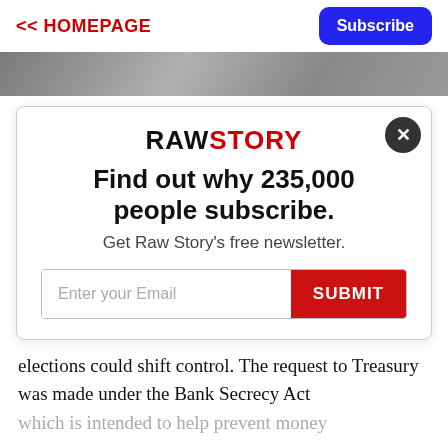<< HOMEPAGE  Subscribe
[Figure (photo): Partial hero image, dark/grey tones, appears to show a desk or hands]
[Figure (screenshot): Raw Story newsletter subscription modal popup with logo, headline 'Find out why 235,000 people subscribe.', subtext 'Get Raw Story's free newsletter.', email input field and red SUBMIT button, close X button in top right]
elections could shift control. The request to Treasury was made under the Bank Secrecy Act
which is intended to help prevent money